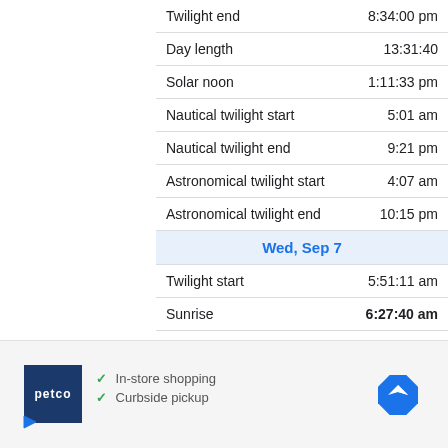|  |  |
| --- | --- |
| Twilight end | 8:34:00 pm |
| Day length | 13:31:40 |
| Solar noon | 1:11:33 pm |
| Nautical twilight start | 5:01 am |
| Nautical twilight end | 9:21 pm |
| Astronomical twilight start | 4:07 am |
| Astronomical twilight end | 10:15 pm |
| Wed, Sep 7 |  |
| Twilight start | 5:51:11 am |
| Sunrise | 6:27:40 am |
[Figure (other): Petco advertisement showing logo, In-store shopping and Curbside pickup checkmarks, and a navigation/directions icon]